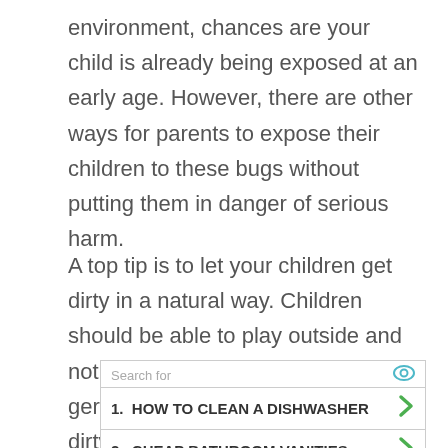environment, chances are your child is already being exposed at an early age. However, there are other ways for parents to expose their children to these bugs without putting them in danger of serious harm.
A top tip is to let your children get dirty in a natural way. Children should be able to play outside and not have to worry about picking up germs from the ground or getting dirty.
[Figure (other): Advertisement box with 'Search for' header and two sponsored search results: 1. HOW TO CLEAN A DISHWASHER, 2. CHEAP BATHROOM VANITIES, with green arrow icons and cyan eye/play icons.]